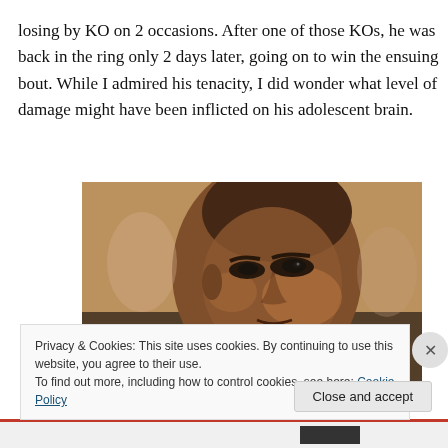losing by KO on 2 occasions. After one of those KOs, he was back in the ring only 2 days later, going on to win the ensuing bout. While I admired his tenacity, I did wonder what level of damage might have been inflicted on his adolescent brain.
[Figure (photo): Close-up portrait photograph of a man's face, appearing to be Muhammad Ali, looking intensely at the camera. The image shows his face from a slight angle with other figures blurred in the background.]
Privacy & Cookies: This site uses cookies. By continuing to use this website, you agree to their use.
To find out more, including how to control cookies, see here: Cookie Policy
Close and accept